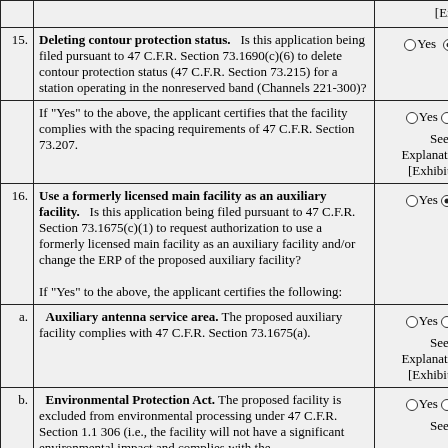| # | Question | Response |
| --- | --- | --- |
|  | [Exhibit 27] |  |
| 15. | Deleting contour protection status. Is this application being filed pursuant to 47 C.F.R. Section 73.1690(c)(6) to delete contour protection status (47 C.F.R. Section 73.215) for a station operating in the nonreserved band (Channels 221-300)? | Yes (No selected) No |
|  | If "Yes" to the above, the applicant certifies that the facility complies with the spacing requirements of 47 C.F.R. Section 73.207. | Yes No
See Explanation in [Exhibit 28] |
| 16. | Use a formerly licensed main facility as an auxiliary facility. Is this application being filed pursuant to 47 C.F.R. Section 73.1675(c)(1) to request authorization to use a formerly licensed main facility as an auxiliary facility and/or change the ERP of the proposed auxiliary facility?

If "Yes" to the above, the applicant certifies the following: | Yes (No selected) No |
| a. | Auxiliary antenna service area. The proposed auxiliary facility complies with 47 C.F.R. Section 73.1675(a). | Yes No
See Explanation in [Exhibit 29] |
| b. | Environmental Protection Act. The proposed facility is excluded from environmental processing under 47 C.F.R. Section 1.1 306 (i.e., the facility will not have a significant environmental impact and complies with the... | Yes No
See... |